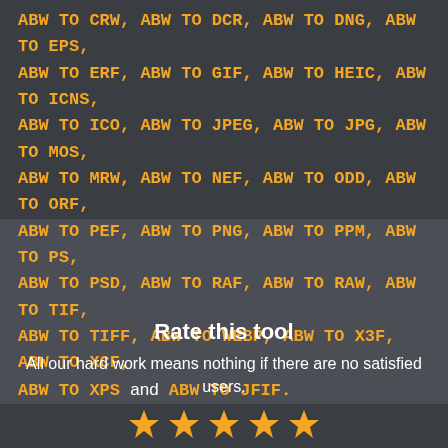ABW TO CRW, ABW TO DCR, ABW TO DNG, ABW TO EPS, ABW TO ERF, ABW TO GIF, ABW TO HEIC, ABW TO ICNS, ABW TO ICO, ABW TO JPEG, ABW TO JPG, ABW TO MOS, ABW TO MRW, ABW TO NEF, ABW TO ODD, ABW TO ORF, ABW TO PEF, ABW TO PNG, ABW TO PPM, ABW TO PS, ABW TO PSD, ABW TO RAF, ABW TO RAW, ABW TO TIF, ABW TO TIFF, ABW TO WEBP, ABW TO X3F, ABW TO XCF, ABW TO XPS and ABW TO JFIF.
Rate this tool
All our hard work means nothing if there are no satisfied users.